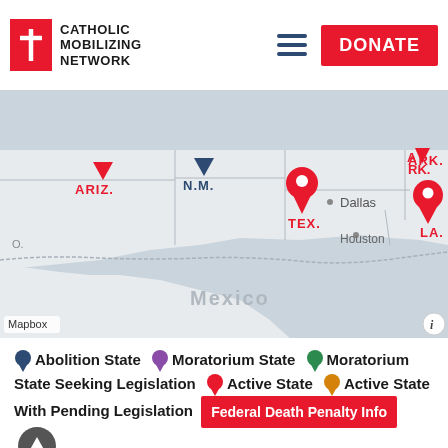Catholic Mobilizing Network | DONATE
[Figure (map): Interactive map of US southern states (ARIZ., N.M., TEX., ARK., LA.) with colored markers indicating death penalty status by state. Texas and Louisiana show red active-state pin-drop markers. Arizona shows a red inverted triangle marker. New Mexico shows a dark navy inverted triangle marker. Mexico and Gulf coast visible in lower portion. 'Dallas' and 'Houston' city labels visible. Mapbox attribution shown.]
Abolition State  Moratorium State  Moratorium State Seeking Legislation  Active State  Active State With Pending Legislation  Federal Death Penalty Info